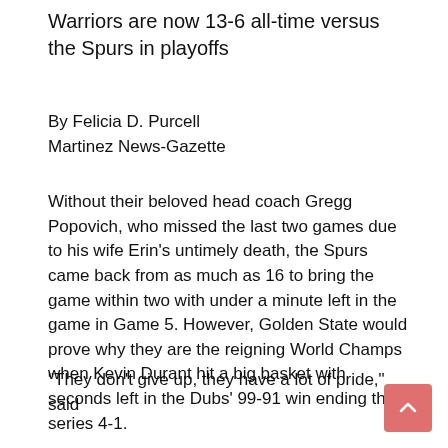Warriors are now 13-6 all-time versus the Spurs in playoffs
By Felicia D. Purcell
Martinez News-Gazette
Without their beloved head coach Gregg Popovich, who missed the last two games due to his wife Erin’s untimely death, the Spurs came back from as much as 16 to bring the game within two with under a minute left in the game in Game 5. However, Golden State would prove why they are the reigning World Champs when Kevin Durant hit a big basket with seconds left in the Dubs’ 99-91 win ending the series 4-1.
“They don’t give up, they have a lot of pride,” said